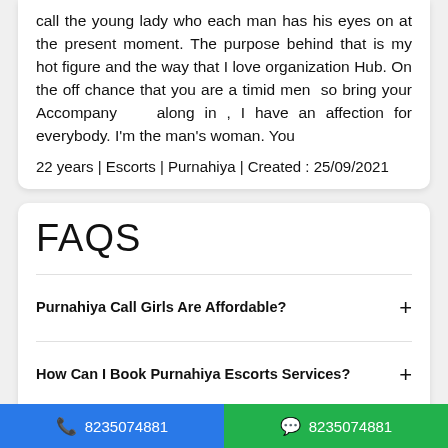call the young lady who each man has his eyes on at the present moment. The purpose behind that is my hot figure and the way that I love organization Hub. On the off chance that you are a timid men so bring your Accompany along in , I have an affection for everybody. I'm the man's woman. You
22 years | Escorts | Purnahiya | Created : 25/09/2021
FAQS
Purnahiya Call Girls Are Affordable?
How Can I Book Purnahiya Escorts Services?
Can I Book Call Girl Purnahiya For OutCall Services?
Where Can I Pick Call Girls in Purnahiya?
Sher...
8235074881
8235074881